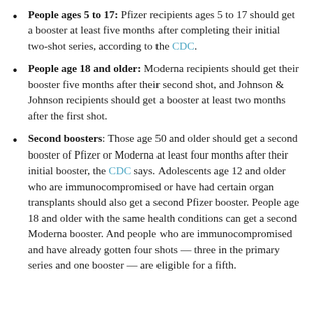People ages 5 to 17: Pfizer recipients ages 5 to 17 should get a booster at least five months after completing their initial two-shot series, according to the CDC.
People age 18 and older: Moderna recipients should get their booster five months after their second shot, and Johnson & Johnson recipients should get a booster at least two months after the first shot.
Second boosters: Those age 50 and older should get a second booster of Pfizer or Moderna at least four months after their initial booster, the CDC says. Adolescents age 12 and older who are immunocompromised or have had certain organ transplants should also get a second Pfizer booster. People age 18 and older with the same health conditions can get a second Moderna booster. And people who are immunocompromised and have already gotten four shots — three in the primary series and one booster — are eligible for a fifth.